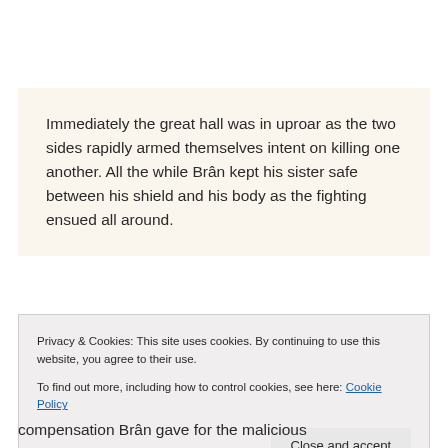Immediately the great hall was in uproar as the two sides rapidly armed themselves intent on killing one another.  All the while Brân kept his sister safe between his shield and his body as the fighting ensued all around.
compensation Brân gave for the malicious
Privacy & Cookies: This site uses cookies. By continuing to use this website, you agree to their use.
To find out more, including how to control cookies, see here: Cookie Policy
[Close and accept]